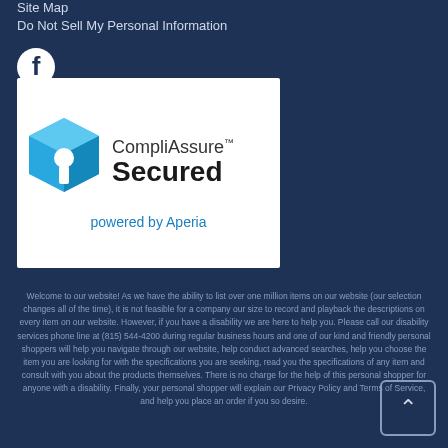Site Map
Do Not Sell My Personal Information
[Figure (logo): Facebook logo icon - circular white F on dark background]
[Figure (logo): CompliAssure Secured powered by Aperia badge - white background with blue 3D key/lock icon on left, text 'CompliAssure Secured powered by Aperia' on right]
Welcome to our website! As we have the ability to list over one million items on our website (our selection changes all of the time), it is not feasible for a company our size to record and playback the descriptions on every item on our website. However, if you have a disability we are here to help you. Please call our disability services phone line at (815) 544-4200 during regular business hours and one of our kind and friendly personal shoppers will help you navigate through our website, help conduct advanced searches, help you choose the item you are looking for with the specifications you are seeking, read you the specifications of any item and consult with you about the products themselves. There is no charge for the help of this personal shopper for anyone with a disability. Finally, your personal shopper will explain our Privacy Policy and Terms of Service, and help you place an order if you so desire.